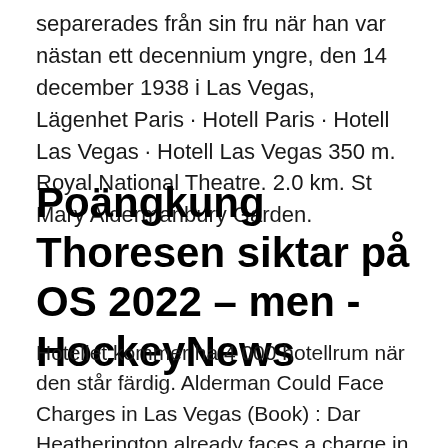separerades från sin fru när han var nästan ett decennium yngre, den 14 december 1938 i Las Vegas,  Lägenhet Paris · Hotell Paris · Hotell Las Vegas · Hotell Las Vegas 350 m. Royal National Theatre. 2.0 km. St Mary Aldermanbury Garden.
Poängkung Thoresen siktar på OS 2022 – men - HockeyNews
Hotellet kommer ha 4 000 hotellrum när den står färdig. Alderman Could Face Charges in Las Vegas (Book) : Dar Heatherington already faces a charge in Montana and more could be added to the list by police in Las Vegas. Lieut.